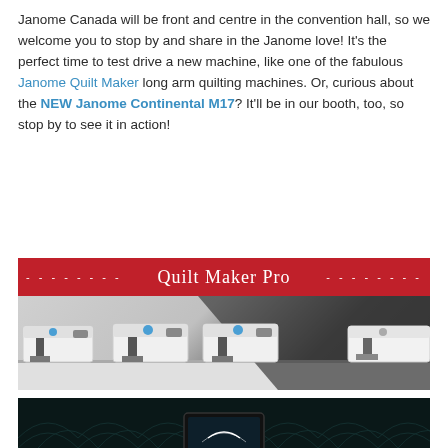Janome Canada will be front and centre in the convention hall, so we welcome you to stop by and share in the Janome love! It's the perfect time to test drive a new machine, like one of the fabulous Janome Quilt Maker long arm quilting machines. Or, curious about the NEW Janome Continental M17? It'll be in our booth, too, so stop by to see it in action!
[Figure (photo): Janome Quilt Maker Pro banner image showing multiple long arm quilting machines on tables with a red header bar reading 'Quilt Maker Pro' with dashes on both sides]
[Figure (photo): Bottom preview image showing what appears to be a dark background with decorative pattern, partially cropped]